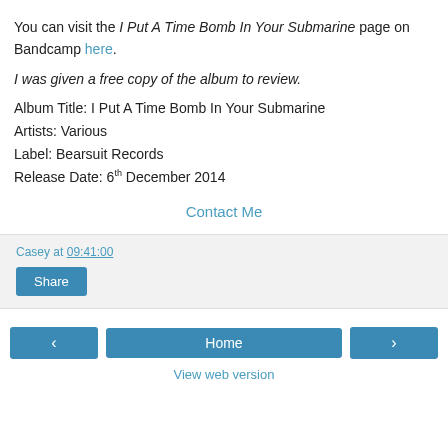You can visit the I Put A Time Bomb In Your Submarine page on Bandcamp here.
I was given a free copy of the album to review.
Album Title: I Put A Time Bomb In Your Submarine
Artists: Various
Label: Bearsuit Records
Release Date: 6th December 2014
Contact Me
Casey at 09:41:00
Share
< Home > View web version